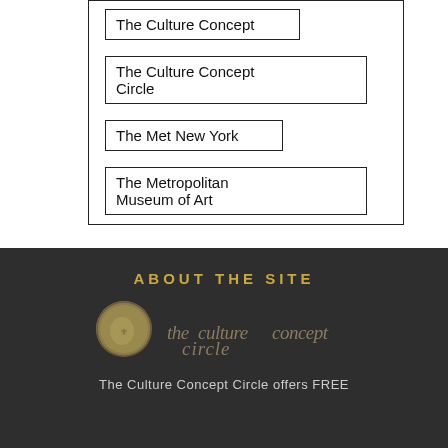| The Culture Concept |
| The Culture Concept Circle |
| The Met New York |
| The Metropolitan Museum of Art |
ABOUT THE SITE
[Figure (logo): The Culture Concept Circle logo with coin image and script text]
The Culture Concept Circle offers FREE